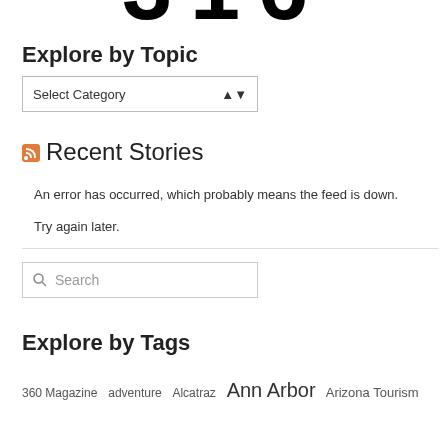[Figure (other): Partial large bold letters visible at top of page, cropped]
Explore by Topic
[Figure (screenshot): Select Category dropdown control]
Recent Stories
An error has occurred, which probably means the feed is down. Try again later.
[Figure (screenshot): Search input box with magnifying glass icon]
Explore by Tags
360 Magazine  adventure  Alcatraz  Ann Arbor  Arizona Tourism  Ad...